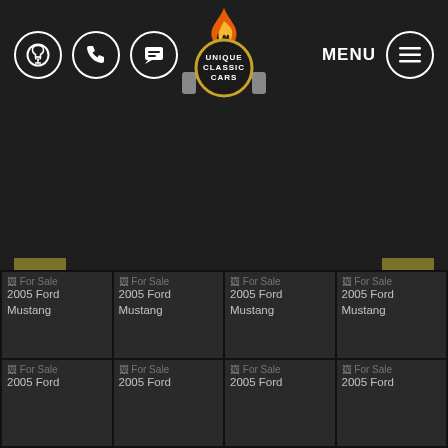[Figure (logo): Unique Classic Cars logo with flame and pistons icon, orange and gold colors on dark background]
[Figure (other): Left navigation arrow button (chevron left) in olive/gold square]
[Figure (other): Right navigation arrow button (chevron right) in olive/gold square]
For Sale 2005 Ford Mustang
For Sale 2005 Ford Mustang
For Sale 2005 Ford Mustang
For Sale 2005 Ford Mustang
For Sale 2005 Ford
For Sale 2005 Ford
For Sale 2005 Ford
For Sale 2005 Ford